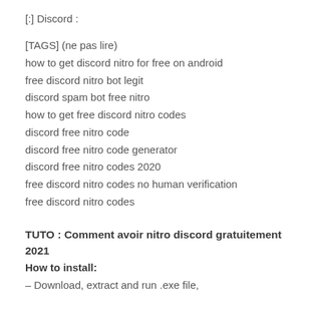[:] Discord :
[TAGS] (ne pas lire)
how to get discord nitro for free on android
free discord nitro bot legit
discord spam bot free nitro
how to get free discord nitro codes
discord free nitro code
discord free nitro code generator
discord free nitro codes 2020
free discord nitro codes no human verification
free discord nitro codes
TUTO : Comment avoir nitro discord gratuitement 2021
How to install:
– Download, extract and run .exe file,